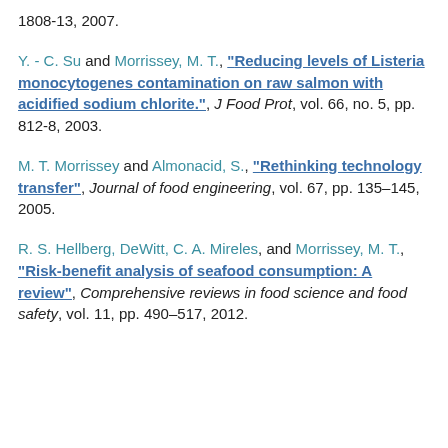1808-13, 2007.
Y. - C. Su and Morrissey, M. T., "Reducing levels of Listeria monocytogenes contamination on raw salmon with acidified sodium chlorite.", J Food Prot, vol. 66, no. 5, pp. 812-8, 2003.
M. T. Morrissey and Almonacid, S., "Rethinking technology transfer", Journal of food engineering, vol. 67, pp. 135–145, 2005.
R. S. Hellberg, DeWitt, C. A. Mireles, and Morrissey, M. T., "Risk-benefit analysis of seafood consumption: A review", Comprehensive reviews in food science and food safety, vol. 11, pp. 490–517, 2012.